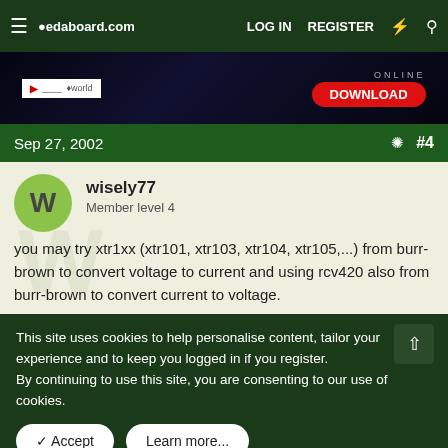edaboard.com | LOG IN | REGISTER
[Figure (other): Advertisement banner showing a download button with text DOWNLOAD and ONLINE, featuring a dark blue background with electronic/PCB imagery and EEworld branding]
Sep 27, 2002  #4
wisely77
Member level 4
you may try xtr1xx (xtr101, xtr103, xtr104, xtr105,...) from burr-brown to convert voltage to current and using rcv420 also from burr-brown to convert current to voltage.
This site uses cookies to help personalise content, tailor your experience and to keep you logged in if you register.
By continuing to use this site, you are consenting to our use of cookies.